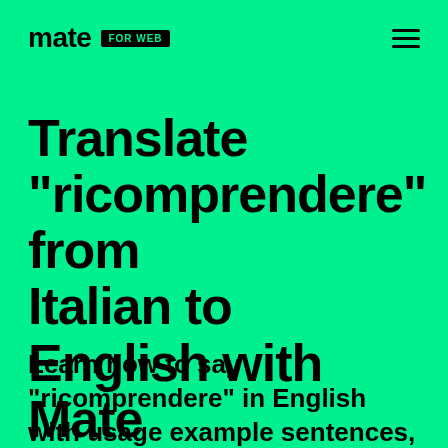mate FOR WEB
Translate "ricomprendere" from Italian to English with Mate
Learn how to say "ricomprendere" in English with usage example sentences, synonyms, relevant words, and pronunciation. Powered by Mate.